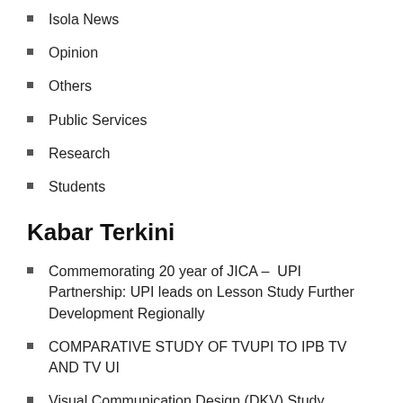Isola News
Opinion
Others
Public Services
Research
Students
Kabar Terkini
Commemorating 20 year of JICA – UPI Partnership: UPI leads on Lesson Study Further Development Regionally
COMPARATIVE STUDY OF TVUPI TO IPB TV AND TV UI
Visual Communication Design (DKV) Study Program FPSD-UPI Developing City Branding, Creative Industries and Tourism in West Java
Start to Learn and Master Soft Skills as a Student